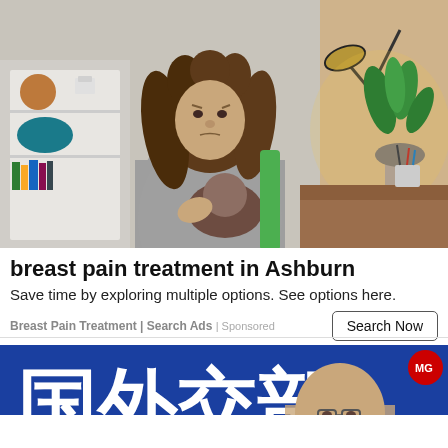[Figure (photo): Woman with curly hair holding a baby, appearing to be in pain or distress, seated in a home office setting with bookshelves, a desk lamp, and a plant in the background.]
breast pain treatment in Ashburn
Save time by exploring multiple options. See options here.
Breast Pain Treatment | Search Ads | Sponsored
[Figure (photo): Man in a suit speaking at a podium with Chinese characters visible on a blue banner behind him, and a small logo in the upper right corner.]